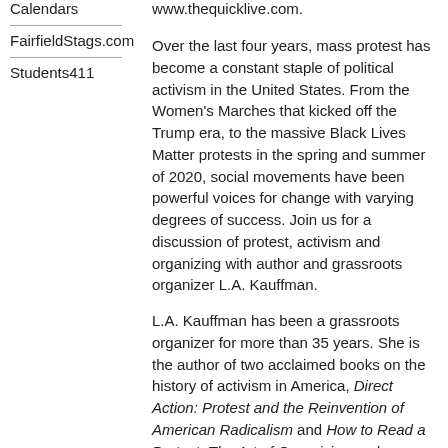Calendars
www.thequicklive.com.
FairfieldStags.com
Students411
Over the last four years, mass protest has become a constant staple of political activism in the United States. From the Women's Marches that kicked off the Trump era, to the massive Black Lives Matter protests in the spring and summer of 2020, social movements have been powerful voices for change with varying degrees of success. Join us for a discussion of protest, activism and organizing with author and grassroots organizer L.A. Kauffman.
L.A. Kauffman has been a grassroots organizer for more than 35 years. She is the author of two acclaimed books on the history of activism in America, Direct Action: Protest and the Reinvention of American Radicalism and How to Read a Protest: The Art of Organizing and Resistance. She was the mobilizing coordinator for some of the largest demonstrations in U.S. history — the massive Iraq War protests of 2003 and 2004 — and more recently has served as senior strategy adviser to Women's March. Her writings have appeared in The Guardian, Frieze, The Boston Review, and many other outlets, and her work has been featured in The New Yorker, The New York Times, NPR's All